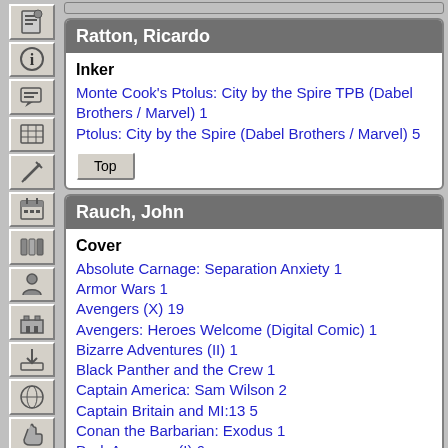Ratton, Ricardo
Inker
Monte Cook's Ptolus: City by the Spire TPB (Dabel Brothers / Marvel) 1
Ptolus: City by the Spire (Dabel Brothers / Marvel) 5
Rauch, John
Cover
Absolute Carnage: Separation Anxiety 1
Armor Wars 1
Avengers (X) 19
Avengers: Heroes Welcome (Digital Comic) 1
Bizarre Adventures (II) 1
Black Panther and the Crew 1
Captain America: Sam Wilson 2
Captain Britain and MI:13 5
Conan the Barbarian: Exodus 1
Dark Avengers (I) 6
Dark Reign: The List - Secret Warriors One-Shot 1
Dark Reign: Made Men 1
Deadpool (V) 3
Doctor Strange and the Sorcerers Supreme 1
Fantastic Four (IV) • The New Fantastic Four 572 - 573